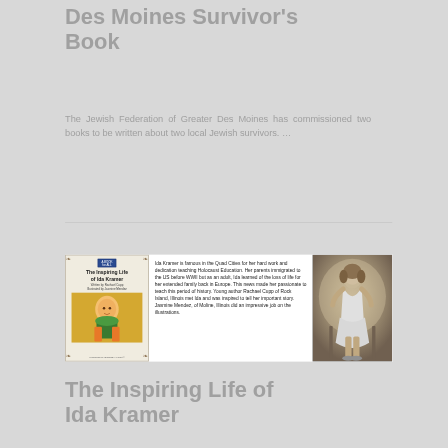Des Moines Survivor's Book
The Jewish Federation of Greater Des Moines has commissioned two books to be written about two local Jewish survivors. …
[Figure (photo): A composite image strip showing: (left) a children's book cover titled 'The Inspiring Life of Ida Kramer' with blue badge and illustrated cover; (center) descriptive text about Ida Kramer and Holocaust Education; (right) a vintage black-and-white photograph of a young girl in a dress and ballet shoes.]
The Inspiring Life of Ida Kramer